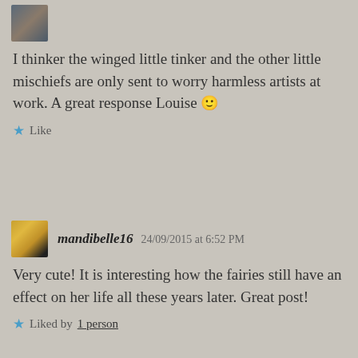[Figure (photo): Small avatar photo of a person, partially visible at top]
I thinker the winged little tinker and the other little mischiefs are only sent to worry harmless artists at work. A great response Louise 🙂
★ Like
[Figure (photo): Avatar photo of mandibelle16, person with yellow head covering]
mandibelle16   24/09/2015 at 6:52 PM
Very cute! It is interesting how the fairies still have an effect on her life all these years later. Great post!
★ Liked by 1 person